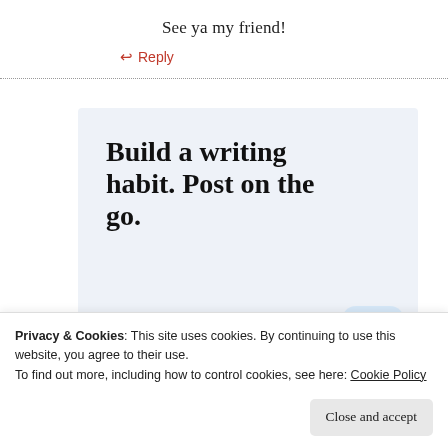See ya my friend!
↩ Reply
[Figure (infographic): WordPress app advertisement: 'Build a writing habit. Post on the go.' with GET THE APP link and WordPress logo]
Privacy & Cookies: This site uses cookies. By continuing to use this website, you agree to their use. To find out more, including how to control cookies, see here: Cookie Policy
Close and accept